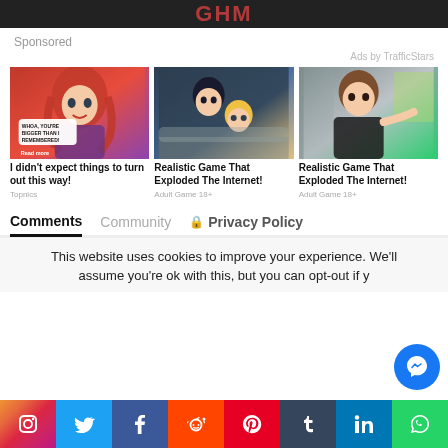[Figure (screenshot): Dark top banner with partial logo/text visible]
Sponsored
Ads by TrafficStars
[Figure (photo): Anime illustration - red-haired girl with speech bubble saying WHOA, YOU'RE BIGGER THAN I REMEMBERED! and Read more button]
I didn't expect things to turn out this way!
Topnics
[Figure (photo): Anime illustration - two characters in intimate scene]
Realistic Game That Exploded The Internet!
Adult Game 18+
[Figure (photo): Anime/semi-realistic illustration - girl in dark outfit]
Realistic Game That Exploded The Internet!
Adult Game 18+
Comments
Community
Privacy Policy
This website uses cookies to improve your experience. We'll assume you're ok with this, but you can opt-out if y
[Figure (infographic): Social media share bar: Instagram, Twitter, Facebook, Reddit, Pinterest, Tumblr, LinkedIn, WhatsApp]